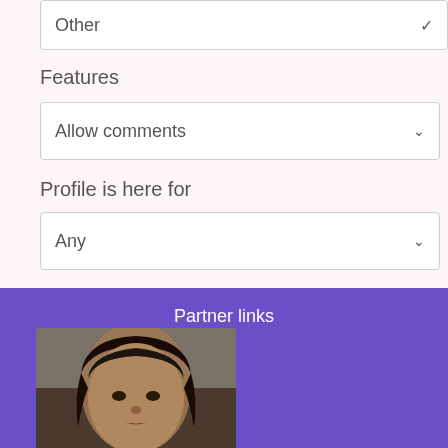Other
Features
Allow comments
Profile is here for
Any
Sök
Partner links
[Figure (photo): Woman's face closeup, blurred, dark hair, on purple partner links banner]
[Figure (photo): Circular avatar image of a woman in white top and teal shorts on right side]